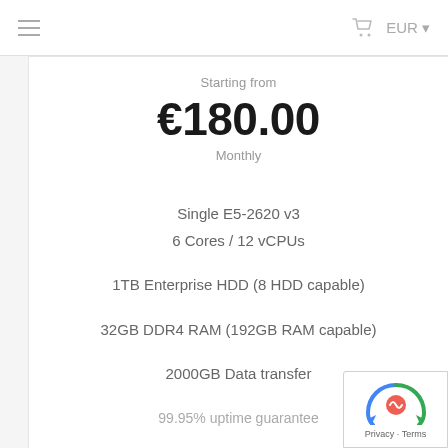≡  🛒  EUR ▾
Starting from
€180.00
Monthly
Single E5-2620 v3
6 Cores / 12 vCPUs
1TB Enterprise HDD (8 HDD capable)
32GB DDR4 RAM (192GB RAM capable)
2000GB Data transfer
99.95% uptime guarantee
[Figure (logo): reCAPTCHA badge with blue arrow logo and Privacy - Terms links]